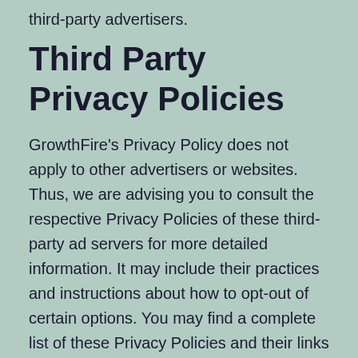third-party advertisers.
Third Party Privacy Policies
GrowthFire's Privacy Policy does not apply to other advertisers or websites. Thus, we are advising you to consult the respective Privacy Policies of these third-party ad servers for more detailed information. It may include their practices and instructions about how to opt-out of certain options. You may find a complete list of these Privacy Policies and their links here: Privacy Policy Links.